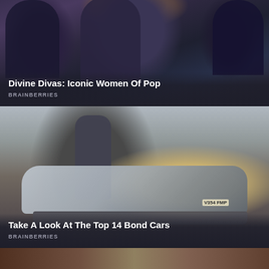[Figure (photo): Group photo of several people, appears to be women celebrities/pop icons, against a dark background]
Divine Divas: Iconic Women Of Pop
BRAINBERRIES
[Figure (photo): A man in a suit leaning against a silver BMW sports car (plate V354 FMP) with oil rigs in the background — James Bond style scene]
Take A Look At The Top 14 Bond Cars
BRAINBERRIES
[Figure (photo): Partial view of a third card at the bottom, showing a dark outdoor scene]